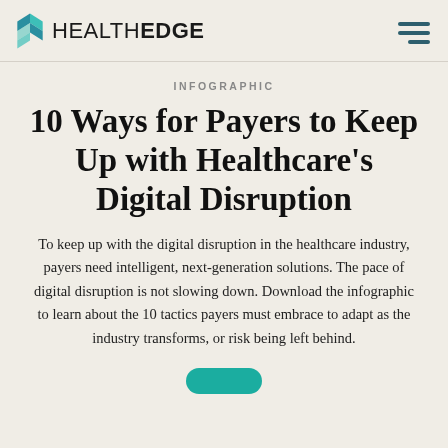HEALTHEDGE
INFOGRAPHIC
10 Ways for Payers to Keep Up with Healthcare's Digital Disruption
To keep up with the digital disruption in the healthcare industry, payers need intelligent, next-generation solutions. The pace of digital disruption is not slowing down. Download the infographic to learn about the 10 tactics payers must embrace to adapt as the industry transforms, or risk being left behind.